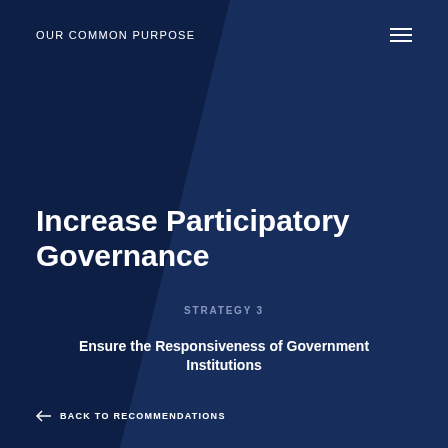OUR COMMON PURPOSE
Increase Participatory Governance
STRATEGY 3
Ensure the Responsiveness of Government Institutions
← BACK TO RECOMMENDATIONS